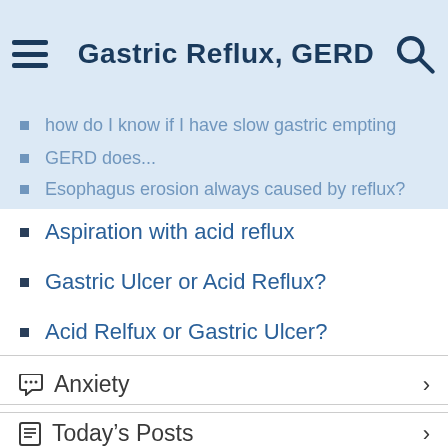Gastric Reflux, GERD
how do I know if I have slow gastric empting
GERD does...
Esophagus erosion always caused by reflux?
Aspiration with acid reflux
Gastric Ulcer or Acid Reflux?
Acid Relfux or Gastric Ulcer?
Anxiety
Today's Posts